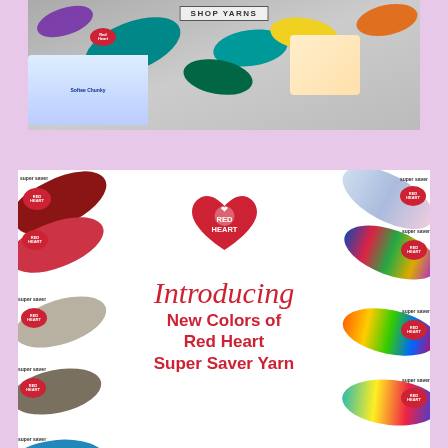[Figure (photo): Top banner showing colorful yarn balls/skeins in purple, teal, green, yellow, and orange colors on a gray background, with a 'SHOP YARNS' button in the center]
[Figure (photo): Red Heart Super Saver Yarn advertisement banner showing multiple yarn skeins arranged around the border, Red Heart logo with heart in center, and text 'Introducing New Colors of Red Heart Super Saver Yarn' in red italic and bold fonts]
[Figure (photo): Partial image at bottom showing a white fluffy crocheted hat/beanie on a light purple/pink background]